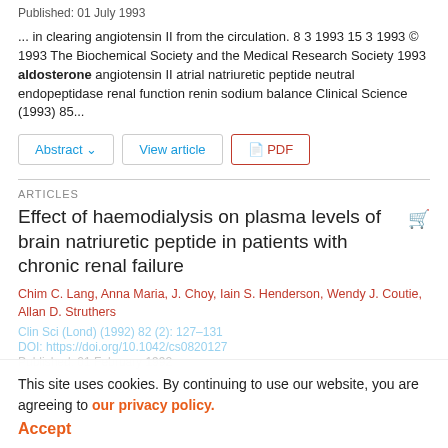Published: 01 July 1993
... in clearing angiotensin II from the circulation. 8 3 1993 15 3 1993 © 1993 The Biochemical Society and the Medical Research Society 1993 aldosterone angiotensin II atrial natriuretic peptide neutral endopeptidase renal function renin sodium balance Clinical Science (1993) 85...
Abstract ∨   View article   PDF
ARTICLES
Effect of haemodialysis on plasma levels of brain natriuretic peptide in patients with chronic renal failure
Chim C. Lang, Anna Maria, J. Choy, Iain S. Henderson, Wendy J. Coutie, Allan D. Struthers
Clin Sci (Lond) (1992) 82 (2): 127–131
DOI: https://doi.org/10.1042/cs0820127
Published: 01 February 1992
This site uses cookies. By continuing to use our website, you are agreeing to our privacy policy. Accept